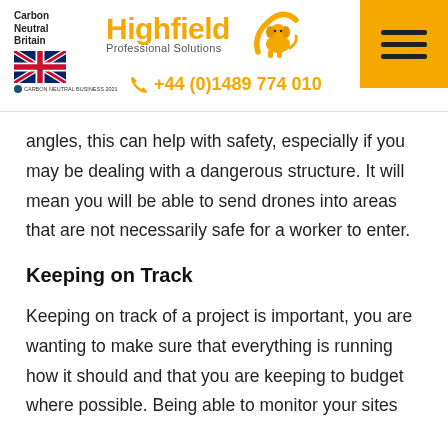[Figure (logo): Highfield Professional Solutions logo with Carbon Neutral Britain badge and phone number +44 (0)1489 774 010]
angles, this can help with safety, especially if you may be dealing with a dangerous structure. It will mean you will be able to send drones into areas that are not necessarily safe for a worker to enter.
Keeping on Track
Keeping on track of a project is important, you are wanting to make sure that everything is running how it should and that you are keeping to budget where possible. Being able to monitor your sites